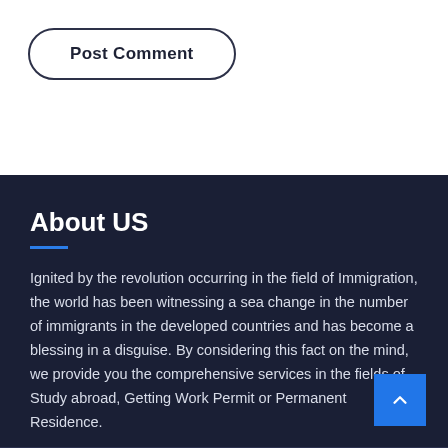Post Comment
About US
Ignited by the revolution occurring in the field of Immigration, the world has been witnessing a sea change in the number of immigrants in the developed countries and has become a blessing in a disguise. By considering this fact on the mind, we provide you the comprehensive services in the fields of Study abroad, Getting Work Permit or Permanent Residence.